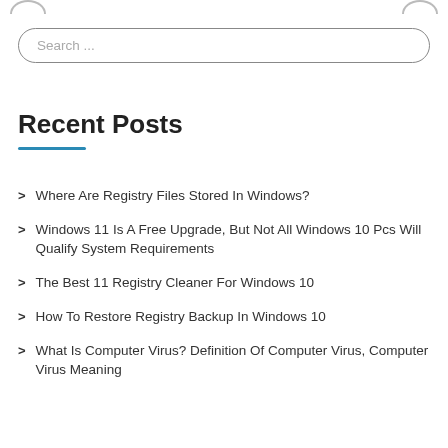[Figure (other): Partial circular icon visible at top-left of page]
[Figure (other): Partial circular icon visible at top-right of page]
Search ...
Recent Posts
Where Are Registry Files Stored In Windows?
Windows 11 Is A Free Upgrade, But Not All Windows 10 Pcs Will Qualify System Requirements
The Best 11 Registry Cleaner For Windows 10
How To Restore Registry Backup In Windows 10
What Is Computer Virus? Definition Of Computer Virus, Computer Virus Meaning